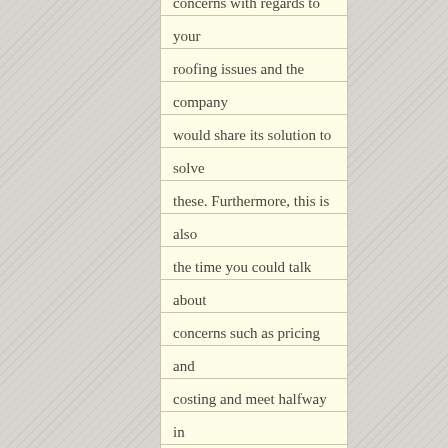concerns with regards to your roofing issues and the company would share its solution to solve these. Furthermore, this is also the time you could talk about concerns such as pricing and costing and meet halfway in order to have a smooth transaction in the duration of the project. Make sure that your agreements are written and are recognized by both parties so that should there be any unattended agreement, you could always show something tangible in order to push your contention.